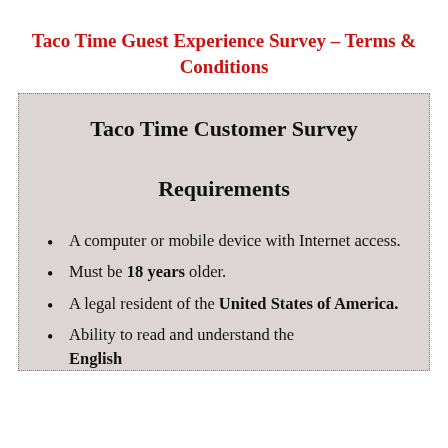Taco Time Guest Experience Survey – Terms & Conditions
Taco Time Customer Survey Requirements
A computer or mobile device with Internet access.
Must be 18 years older.
A legal resident of the United States of America.
Ability to read and understand the English language.